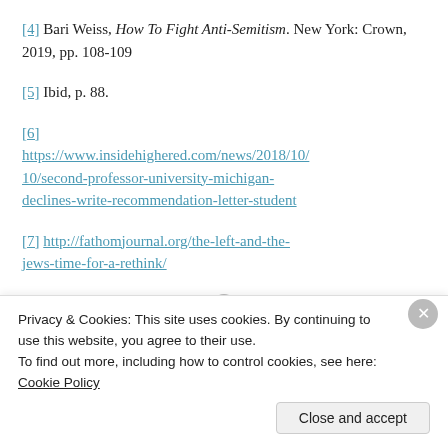[4] Bari Weiss, How To Fight Anti-Semitism. New York: Crown, 2019, pp. 108-109
[5] Ibid, p. 88.
[6] https://www.insidehighered.com/news/2018/10/10/second-professor-university-michigan-declines-write-recommendation-letter-student
[7] http://fathomjournal.org/the-left-and-the-jews-time-for-a-rethink/
Sponsored Content
Privacy & Cookies: This site uses cookies. By continuing to use this website, you agree to their use. To find out more, including how to control cookies, see here: Cookie Policy